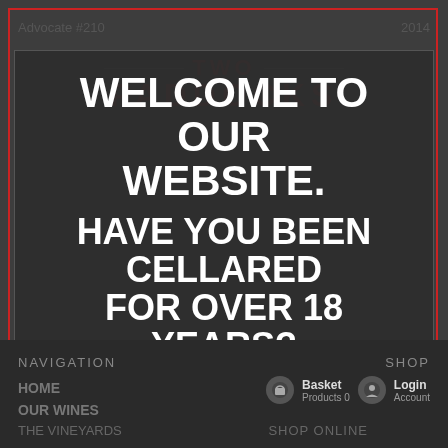[Figure (logo): Two Paddocks winery logo with red text]
Advocate #210 | 2014
Stephen Tanzer's International Wine Cellar, Issue | 2014 | 92 Points
Bob Campbell MW, BobsWineReviews | Aug 2014 | V GOLD 95 Points
WELCOME TO OUR WEBSITE.
HAVE YOU BEEN CELLARED FOR OVER 18 YEARS?
New Zealand law requires that you be over 18 years to enter this website.
NAVIGATION
SHOP
HOME
Basket Products 0
Login Account
OUR WINES
THE VINEYARDS
SHOP ONLINE